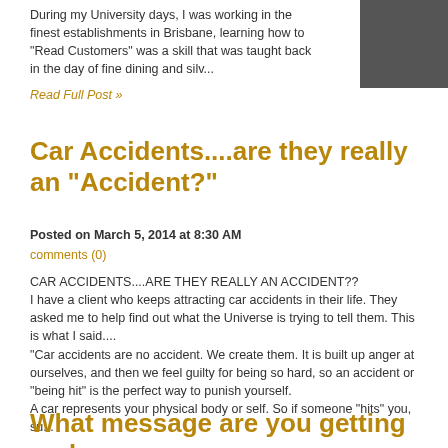During my University days, I was working in the finest establishments in Brisbane, learning how to "Read Customers" was a skill that was taught back in the day of fine dining and silv...
Read Full Post »
Car Accidents....are they really an "Accident?"
Posted on March 5, 2014 at 8:30 AM
comments (0)
CAR ACCIDENTS....ARE THEY REALLY AN ACCIDENT??
I have a client who keeps attracting car accidents in their life. They asked me to help find out what the Universe is trying to tell them. This is what I said....
"Car accidents are no accident. We create them. It is built up anger at ourselves, and then we feel guilty for being so hard, so an accident or "being hit" is the perfect way to punish yourself.
A car represents your physical body or self. So if someone "hits" you, su...
Read Full Post »
What message are you getting and